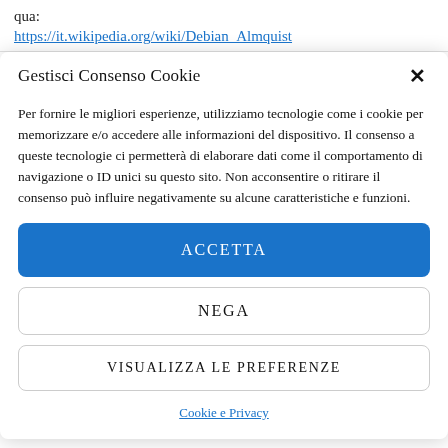qua:
https://it.wikipedia.org/wiki/Debian_Almquist
Gestisci Consenso Cookie
Per fornire le migliori esperienze, utilizziamo tecnologie come i cookie per memorizzare e/o accedere alle informazioni del dispositivo. Il consenso a queste tecnologie ci permetterà di elaborare dati come il comportamento di navigazione o ID unici su questo sito. Non acconsentire o ritirare il consenso può influire negativamente su alcune caratteristiche e funzioni.
ACCETTA
NEGA
VISUALIZZA LE PREFERENZE
Cookie e Privacy